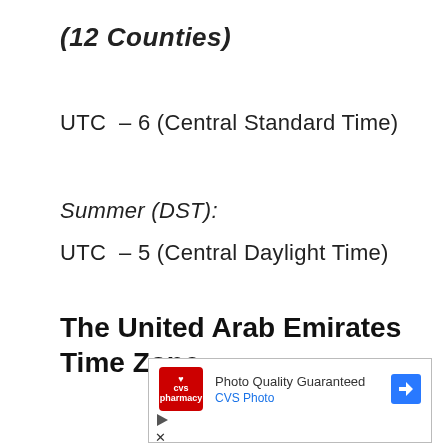(12 Counties)
UTC  – 6 (Central Standard Time)
Summer (DST):
UTC  – 5 (Central Daylight Time)
The United Arab Emirates Time Zone:
[Figure (other): CVS Pharmacy advertisement banner with logo, text 'Photo Quality Guaranteed' and 'CVS Photo', a blue arrow icon, and play/close controls below.]